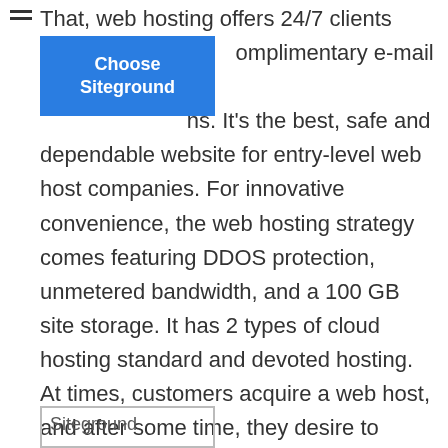That, web hosting offers 24/7 clients care complimentary e-mail accounts on ns. It's the best, safe and dependable website for entry-level web host companies. For innovative convenience, the web hosting strategy comes featuring DDOS protection, unmetered bandwidth, and a 100 GB site storage. It has 2 types of cloud hosting standard and devoted hosting. At times, customers acquire a web host, and after some time, they desire to change to another host, a procedure understood as website transfer.